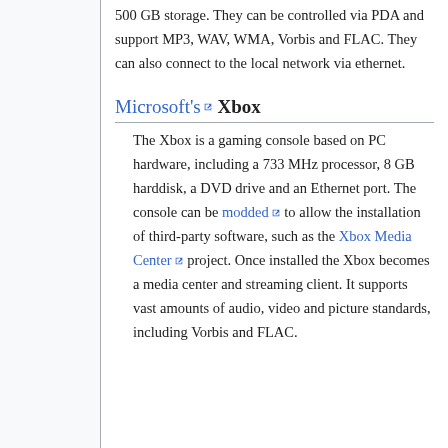500 GB storage. They can be controlled via PDA and support MP3, WAV, WMA, Vorbis and FLAC. They can also connect to the local network via ethernet.
Microsoft's Xbox
The Xbox is a gaming console based on PC hardware, including a 733 MHz processor, 8 GB harddisk, a DVD drive and an Ethernet port. The console can be modded to allow the installation of third-party software, such as the Xbox Media Center project. Once installed the Xbox becomes a media center and streaming client. It supports vast amounts of audio, video and picture standards, including Vorbis and FLAC.